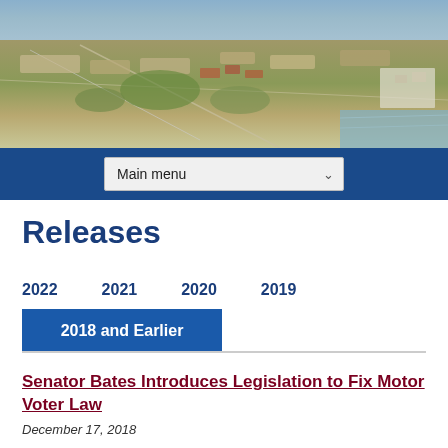[Figure (photo): Aerial view of a coastal California city with neighborhoods, trees, and ocean visible]
Main menu
Releases
2022   2021   2020   2019
2018 and Earlier
Senator Bates Introduces Legislation to Fix Motor Voter Law
December 17, 2018